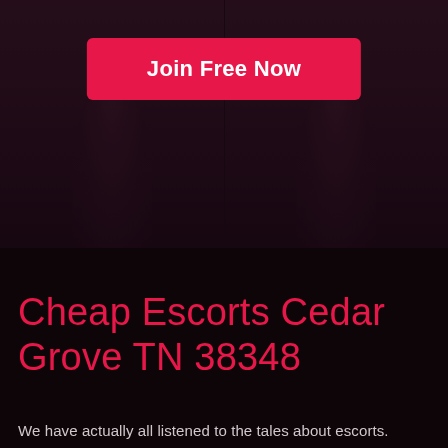[Figure (photo): Dark background photo showing two figures side by side with a pink/crimson call-to-action button overlay reading 'Join Free Now']
Cheap Escorts Cedar Grove TN 38348
We have actually all listened to the tales about escorts.